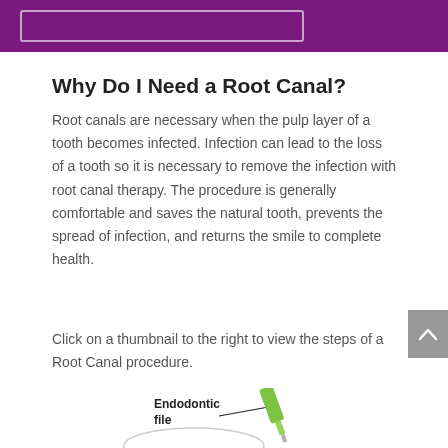[Figure (other): Purple banner header with a white-bordered rectangular box inside]
Why Do I Need a Root Canal?
Root canals are necessary when the pulp layer of a tooth becomes infected. Infection can lead to the loss of a tooth so it is necessary to remove the infection with root canal therapy. The procedure is generally comfortable and saves the natural tooth, prevents the spread of infection, and returns the smile to complete health.
Click on a thumbnail to the right to view the steps of a Root Canal procedure.
[Figure (illustration): Partial illustration of an endodontic file labeled with 'Endodontic file' and an arrow pointing to a green dental instrument, with the top of a tooth diagram visible at the bottom]